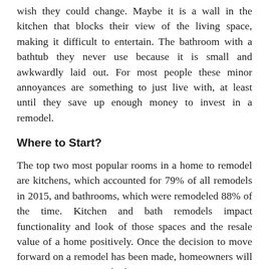wish they could change. Maybe it is a wall in the kitchen that blocks their view of the living space, making it difficult to entertain. The bathroom with a bathtub they never use because it is small and awkwardly laid out. For most people these minor annoyances are something to just live with, at least until they save up enough money to invest in a remodel.
Where to Start?
The top two most popular rooms in a home to remodel are kitchens, which accounted for 79% of all remodels in 2015, and bathrooms, which were remodeled 88% of the time. Kitchen and bath remodels impact functionality and look of those spaces and the resale value of a home positively. Once the decision to move forward on a remodel has been made, homeowners will want to look at contractors, https://www.granitetransformations.com/location/granite-transformations-of-sacramento/, who specialize in kitchen and bath remodels. Businesses that